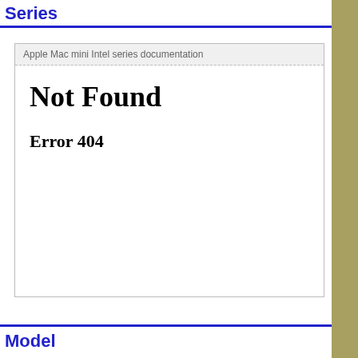Series
Apple Mac mini Intel series documentation
Not Found
Error 404
Model